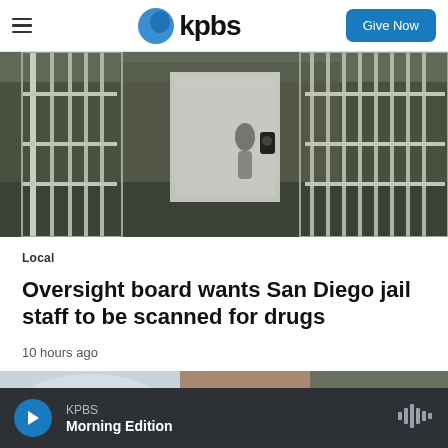KPBS | Give Now
[Figure (photo): Prison jail bars corridor with metal cell doors, overhead view of a jail hallway]
Local
Oversight board wants San Diego jail staff to be scanned for drugs
10 hours ago
[Figure (photo): Partial view of a second news article photo, showing outdoor scene]
KPBS Morning Edition